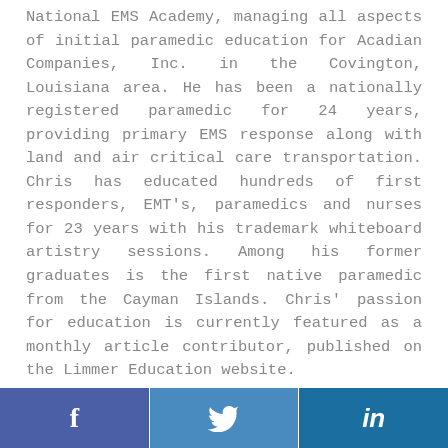National EMS Academy, managing all aspects of initial paramedic education for Acadian Companies, Inc. in the Covington, Louisiana area. He has been a nationally registered paramedic for 24 years, providing primary EMS response along with land and air critical care transportation. Chris has educated hundreds of first responders, EMT's, paramedics and nurses for 23 years with his trademark whiteboard artistry sessions. Among his former graduates is the first native paramedic from the Cayman Islands. Chris' passion for education is currently featured as a monthly article contributor, published on the Limmer Education website.
He has been a featured presenter at numerous local, state and national EMS conferences over the past 12 years, and enjoys traveling annually throughout the
[Figure (other): Social media share bar with Facebook, Twitter, and LinkedIn buttons]